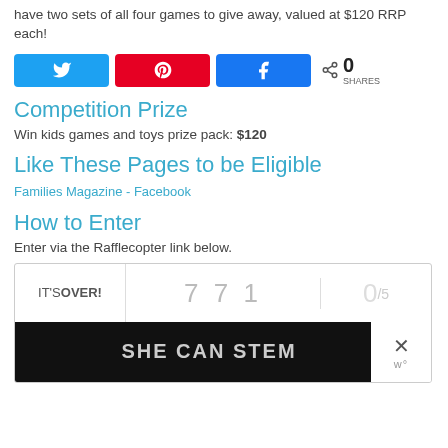have two sets of all four games to give away, valued at $120 RRP each!
[Figure (other): Social share buttons: Twitter, Pinterest, Facebook, and share count showing 0 SHARES]
Competition Prize
Win kids games and toys prize pack: $120
Like These Pages to be Eligible
Families Magazine - Facebook
How to Enter
Enter via the Rafflecopter link below.
[Figure (screenshot): Rafflecopter widget showing IT'S OVER!, entry count 771, score 0/5, with a SHE CAN STEM advertisement overlay]